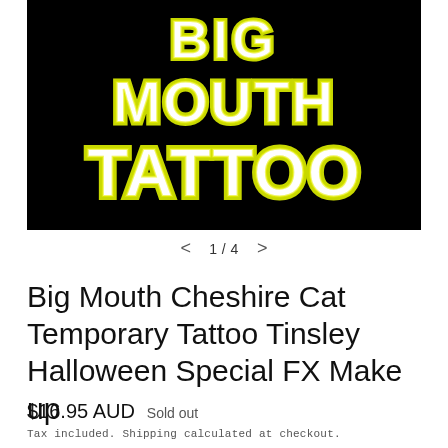[Figure (logo): Black background with stylized text reading 'BIG MOUTH TATTOO' in large white bubble letters with greenish-yellow glow effect]
< 1 / 4 >
Big Mouth Cheshire Cat Temporary Tattoo Tinsley Halloween Special FX Make up
$16.95 AUD  Sold out
Tax included. Shipping calculated at checkout.